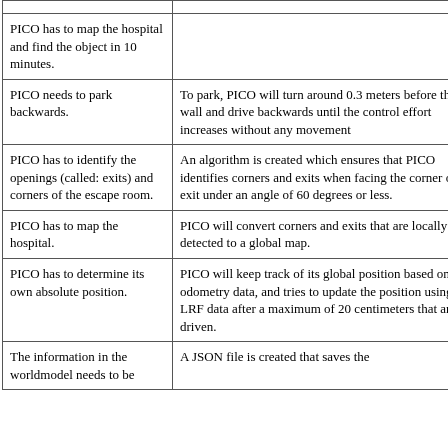| Requirement | Implementation |
| --- | --- |
| PICO has to map the hospital and find the object in 10 minutes. |  |
| PICO needs to park backwards. | To park, PICO will turn around 0.3 meters before the wall and drive backwards until the control effort increases without any movement |
| PICO has to identify the openings (called: exits) and corners of the escape room. | An algorithm is created which ensures that PICO identifies corners and exits when facing the corner or exit under an angle of 60 degrees or less. |
| PICO has to map the hospital. | PICO will convert corners and exits that are locally detected to a global map. |
| PICO has to determine its own absolute position. | PICO will keep track of its global position based on odometry data, and tries to update the position using LRF data after a maximum of 20 centimeters that are driven. |
| The information in the worldmodel needs to be | A JSON file is created that saves the |